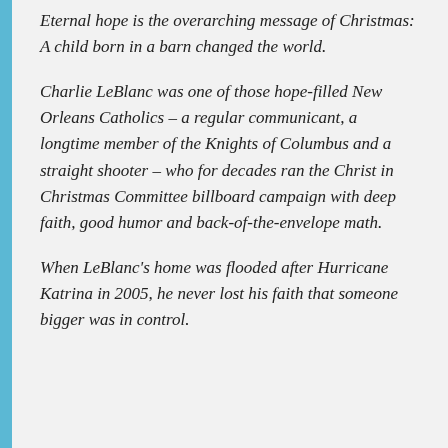Eternal hope is the overarching message of Christmas: A child born in a barn changed the world.
Charlie LeBlanc was one of those hope-filled New Orleans Catholics – a regular communicant, a longtime member of the Knights of Columbus and a straight shooter – who for decades ran the Christ in Christmas Committee billboard campaign with deep faith, good humor and back-of-the-envelope math.
When LeBlanc's home was flooded after Hurricane Katrina in 2005, he never lost his faith that someone bigger was in control.